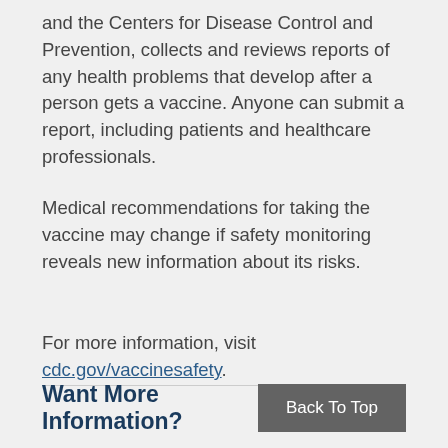and the Centers for Disease Control and Prevention, collects and reviews reports of any health problems that develop after a person gets a vaccine. Anyone can submit a report, including patients and healthcare professionals.
Medical recommendations for taking the vaccine may change if safety monitoring reveals new information about its risks.
For more information, visit cdc.gov/vaccinesafety.
Want More Information?